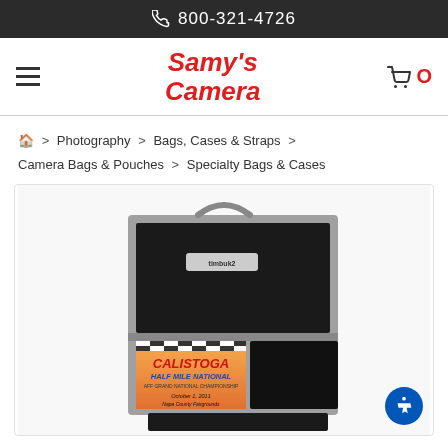800-321-4726
[Figure (logo): Samy's Camera logo in red italic bold text]
🏠 > Photography > Bags, Cases & Straps > Camera Bags & Pouches > Specialty Bags & Cases
[Figure (photo): Camera bag product photo - a hard-shell camera bag with a Calistoga Half Mile National event poster visible on the lower front, dated October 1, 2011, Napa County Fairgrounds]